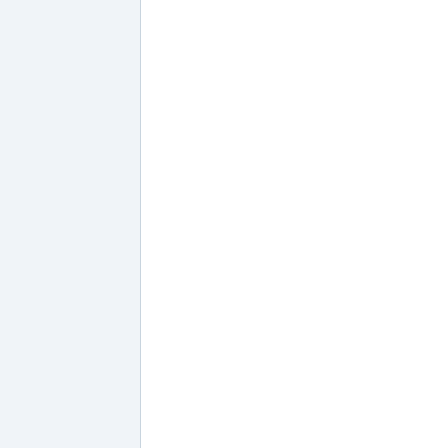needed some feel compelled to fight it, without considering 97% of the visitors to the site don't appear to have an issue with the moderation as if they did, we would be seeing much stronger opposition to it via the forum, so we have to assume the approach the site is